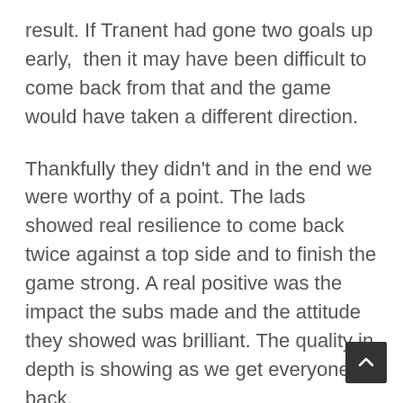result. If Tranent had gone two goals up early,  then it may have been difficult to come back from that and the game would have taken a different direction.
Thankfully they didn't and in the end we were worthy of a point. The lads showed real resilience to come back twice against a top side and to finish the game strong. A real positive was the impact the subs made and the attitude they showed was brilliant. The quality in depth is showing as we get everyone back.
I'm sure you will all know, but we added to that quality with the addition of Dean Whitson to the squad on Tuesday.  Dean had ironically lined up against us on Saturday for